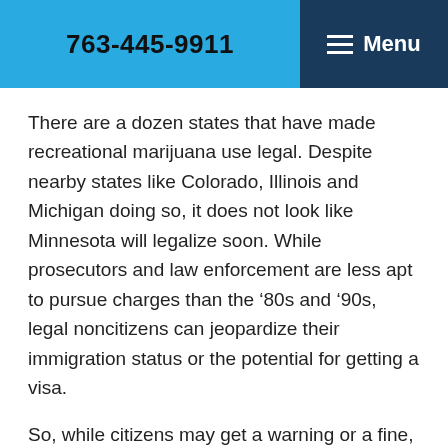763-445-9911  Menu
There are a dozen states that have made recreational marijuana use legal. Despite nearby states like Colorado, Illinois and Michigan doing so, it does not look like Minnesota will legalize soon. While prosecutors and law enforcement are less apt to pursue charges than the ‘80s and ’90s, legal noncitizens can jeopardize their immigration status or the potential for getting a visa.
So, while citizens may get a warning or a fine, immigrants could face:
Deportation or removal
Bars to Re-Entry